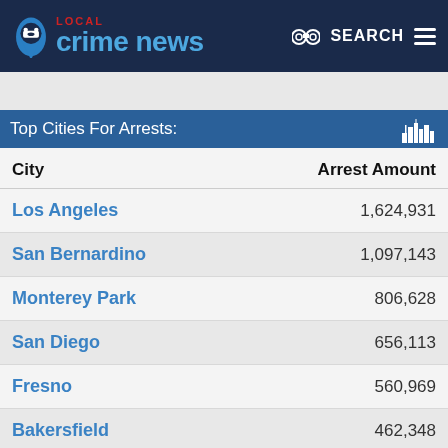LOCAL Crime News — SEARCH
Top Cities For Arrests:
| City | Arrest Amount |
| --- | --- |
| Los Angeles | 1,624,931 |
| San Bernardino | 1,097,143 |
| Monterey Park | 806,628 |
| San Diego | 656,113 |
| Fresno | 560,969 |
| Bakersfield | 462,348 |
| Santa Ana | 456,359 |